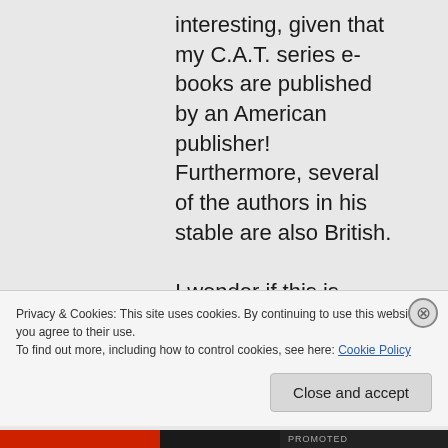interesting, given that my C.A.T. series e-books are published by an American publisher! Furthermore, several of the authors in his stable are also British.

I wonder if this is
Privacy & Cookies: This site uses cookies. By continuing to use this website, you agree to their use.
To find out more, including how to control cookies, see here: Cookie Policy
Close and accept